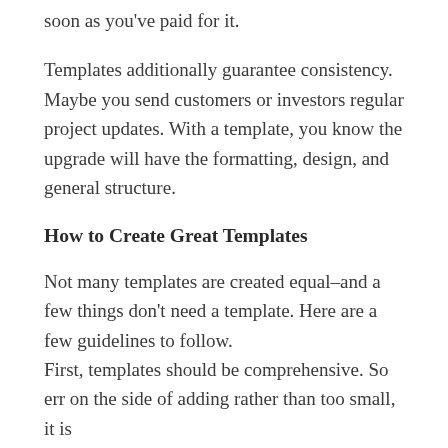soon as you've paid for it.
Templates additionally guarantee consistency. Maybe you send customers or investors regular project updates. With a template, you know the upgrade will have the formatting, design, and general structure.
How to Create Great Templates
Not many templates are created equal–and a few things don't need a template. Here are a few guidelines to follow.
First, templates should be comprehensive. So err on the side of adding rather than too small, it is